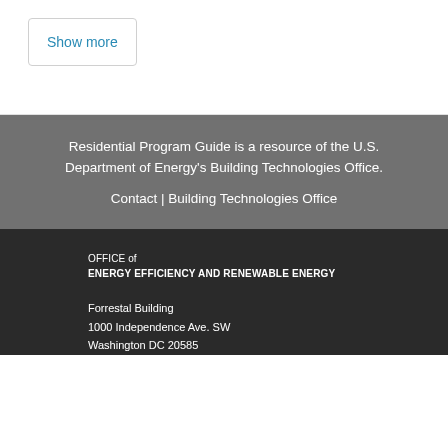Show more
Residential Program Guide is a resource of the U.S. Department of Energy's Building Technologies Office.
Contact | Building Technologies Office
OFFICE of
ENERGY EFFICIENCY AND RENEWABLE ENERGY
Forrestal Building
1000 Independence Ave. SW
Washington DC 20585